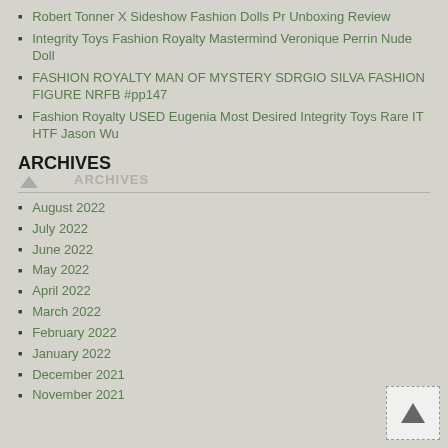Robert Tonner X Sideshow Fashion Dolls Pr Unboxing Review
Integrity Toys Fashion Royalty Mastermind Veronique Perrin Nude Doll
FASHION ROYALTY MAN OF MYSTERY SDRGIO SILVA FASHION FIGURE NRFB #pp147
Fashion Royalty USED Eugenia Most Desired Integrity Toys Rare IT HTF Jason Wu
ARCHIVES
August 2022
July 2022
June 2022
May 2022
April 2022
March 2022
February 2022
January 2022
December 2021
November 2021